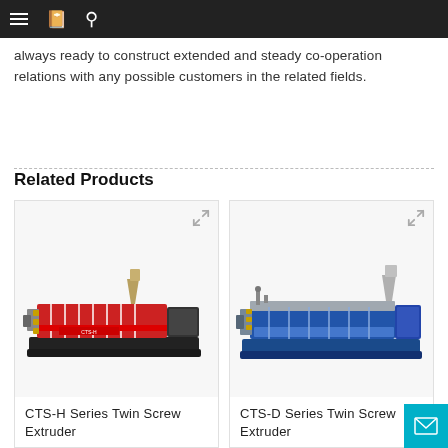Navigation bar with menu, book, and search icons
always ready to construct extended and steady co-operation relations with any possible customers in the related fields.
Related Products
[Figure (photo): CTS-H Series Twin Screw Extruder machine, a long industrial extruder with red body panels and black motor housing, with a metal hopper on top]
CTS-H Series Twin Screw Extruder
[Figure (photo): CTS-D Series Twin Screw Extruder machine, a long industrial extruder with blue body, metal hopper on top, and complex pipe/tube assemblies]
CTS-D Series Twin Screw Extruder